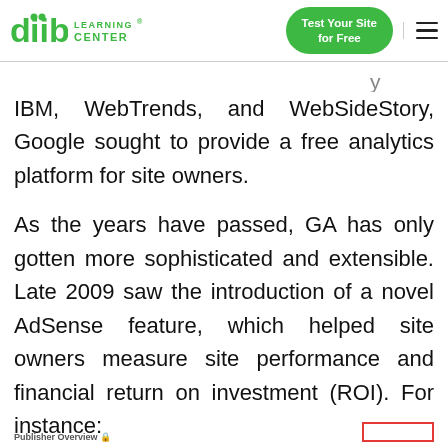diib LEARNING CENTER | Test Your Site for Free
IBM, WebTrends, and WebSideStory, Google sought to provide a free analytics platform for site owners.
As the years have passed, GA has only gotten more sophisticated and extensible. Late 2009 saw the introduction of a novel AdSense feature, which helped site owners measure site performance and financial return on investment (ROI). For instance:
Publisher Overview